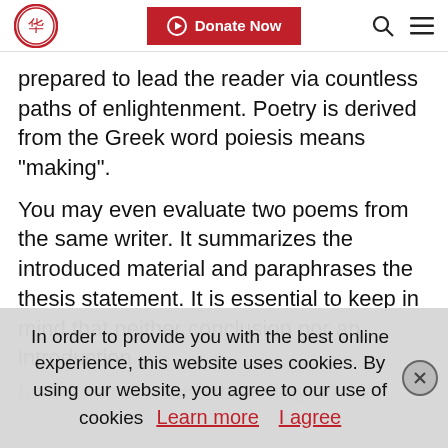Donate Now
prepared to lead the reader via countless paths of enlightenment. Poetry is derived from the Greek word poiesis means “making”.
You may even evaluate two poems from the same writer. It summarizes the introduced material and paraphrases the thesis statement. It is essential to keep in mind that neither conclusion nor an introduction
In order to provide you with the best online experience, this website uses cookies. By using our website, you agree to our use of cookies
Learn more    I agree